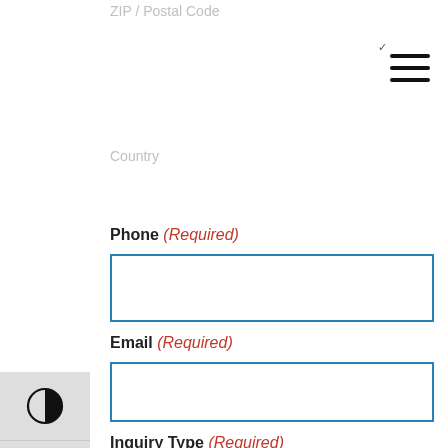ZIP / Postal Code
Country
Phone (Required)
Email (Required)
Inquiry Type (Required)
AcrylicBac™
Inquiry (Required)